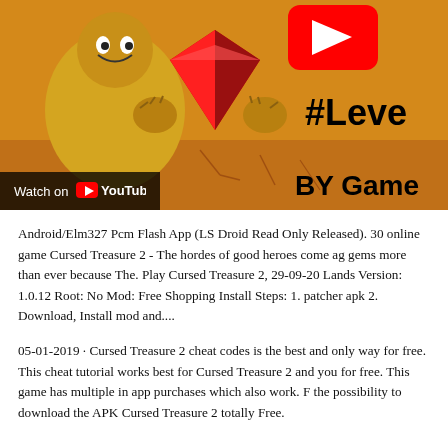[Figure (screenshot): YouTube video thumbnail showing a game character (robot/mech holding a large red gem/diamond) with text '#Leve' and 'BY Game' visible, plus a YouTube play button overlay and 'Watch on YouTube' bar at the bottom left.]
Android/Elm327 Pcm Flash App (LS Droid Read Only Released). 30 online game Cursed Treasure 2 - The hordes of good heroes come ag gems more than ever because The. Play Cursed Treasure 2, 29-09-20 Lands Version: 1.0.12 Root: No Mod: Free Shopping Install Steps: 1. patcher apk 2. Download, Install mod and....
05-01-2019 · Cursed Treasure 2 cheat codes is the best and only way for free. This cheat tutorial works best for Cursed Treasure 2 and you for free. This game has multiple in app purchases which also work. F the possibility to download the APK Cursed Treasure 2 totally Free.